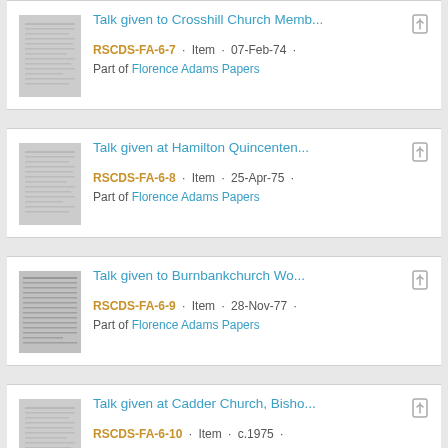Talk given to Crosshill Church Memb... RSCDS-FA-6-7 · Item · 07-Feb-74 · Part of Florence Adams Papers
Talk given at Hamilton Quincenten... RSCDS-FA-6-8 · Item · 25-Apr-75 · Part of Florence Adams Papers
Talk given to Burnbankchurch Wo... RSCDS-FA-6-9 · Item · 28-Nov-77 · Part of Florence Adams Papers
Talk given at Cadder Church, Bisho... RSCDS-FA-6-10 · Item · c.1975 ·